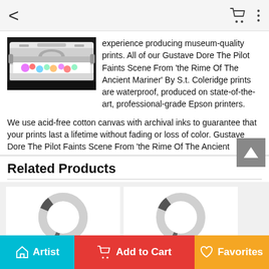< [back] [cart] [menu]
[Figure (photo): Wide-format inkjet printer with colorful print output visible on the roller]
experience producing museum-quality prints. All of our Gustave Dore The Pilot Faints Scene From 'the Rime Of The Ancient Mariner' By S.t. Coleridge prints are waterproof, produced on state-of-the-art, professional-grade Epson printers.
We use acid-free cotton canvas with archival inks to guarantee that your prints last a lifetime without fading or loss of color. Gustave Dore The Pilot Faints Scene From 'the Rime Of The Ancient Mariner' By S.t.
Related Products
[Figure (photo): Product thumbnail placeholder with donut/spinner icon - The Ship Sinks But The Mari...]
The Ship Sinks But The Mari...
[Figure (photo): Product thumbnail placeholder with donut/spinner icon - Mary Rose]
Mary Rose
[Figure (photo): Product thumbnail placeholder with donut/spinner icon - bottom left]
[Figure (photo): Product thumbnail placeholder with donut/spinner icon - bottom right]
Artist | Add to Cart | Favorites